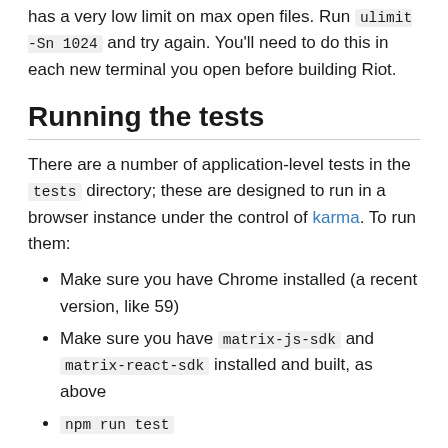has a very low limit on max open files. Run ulimit -Sn 1024 and try again. You'll need to do this in each new terminal you open before building Riot.
Running the tests
There are a number of application-level tests in the tests directory; these are designed to run in a browser instance under the control of karma. To run them:
Make sure you have Chrome installed (a recent version, like 59)
Make sure you have matrix-js-sdk and matrix-react-sdk installed and built, as above
npm run test